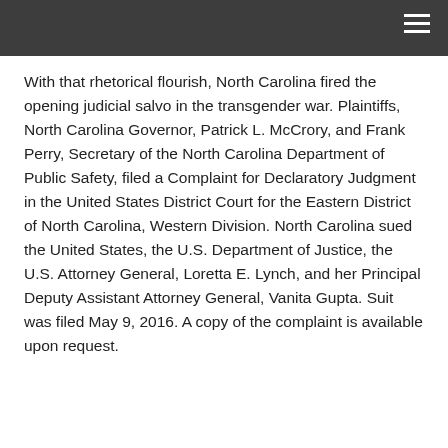With that rhetorical flourish, North Carolina fired the opening judicial salvo in the transgender war. Plaintiffs, North Carolina Governor, Patrick L. McCrory, and Frank Perry, Secretary of the North Carolina Department of Public Safety, filed a Complaint for Declaratory Judgment in the United States District Court for the Eastern District of North Carolina, Western Division. North Carolina sued the United States, the U.S. Department of Justice, the U.S. Attorney General, Loretta E. Lynch, and her Principal Deputy Assistant Attorney General, Vanita Gupta. Suit was filed May 9, 2016. A copy of the complaint is available upon request.